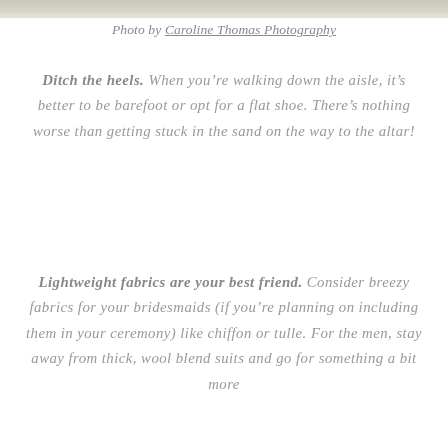[Figure (photo): Top strip of a wedding photo, cropped — white fabric visible at top of page]
Photo by Caroline Thomas Photography
Ditch the heels. When you're walking down the aisle, it's better to be barefoot or opt for a flat shoe. There's nothing worse than getting stuck in the sand on the way to the altar!
Lightweight fabrics are your best friend. Consider breezy fabrics for your bridesmaids (if you're planning on including them in your ceremony) like chiffon or tulle. For the men, stay away from thick, wool blend suits and go for something a bit more